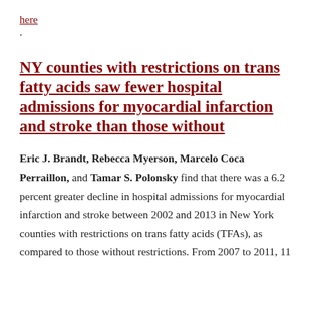here.
NY counties with restrictions on trans fatty acids saw fewer hospital admissions for myocardial infarction and stroke than those without
Eric J. Brandt, Rebecca Myerson, Marcelo Coca Perraillon, and Tamar S. Polonsky find that there was a 6.2 percent greater decline in hospital admissions for myocardial infarction and stroke between 2002 and 2013 in New York counties with restrictions on trans fatty acids (TFAs), as compared to those without restrictions. From 2007 to 2011, 11